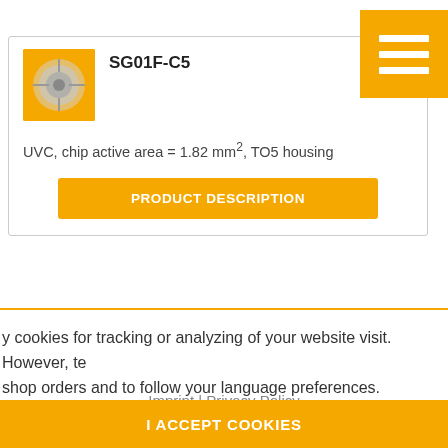[Figure (screenshot): Product image for SG01F-C5 sensor on orange background]
SG01F-C5
UVC, chip active area = 1.82 mm², TO5 housing
PRODUCT DESCRIPTION
y cookies for tracking or analyzing of your website visit. However, te shop orders and to follow your language preferences.
Imprint | Privacy Policy
I ACCEPT COOKIES